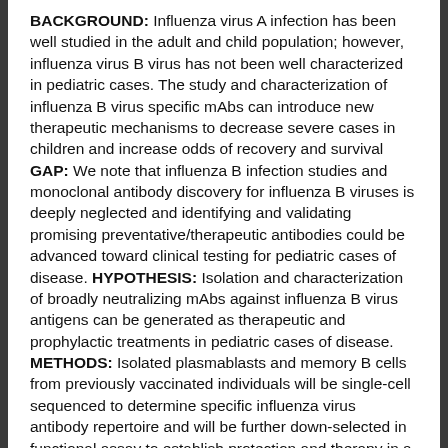BACKGROUND: Influenza virus A infection has been well studied in the adult and child population; however, influenza virus B virus has not been well characterized in pediatric cases. The study and characterization of influenza B virus specific mAbs can introduce new therapeutic mechanisms to decrease severe cases in children and increase odds of recovery and survival GAP: We note that influenza B infection studies and monoclonal antibody discovery for influenza B viruses is deeply neglected and identifying and validating promising preventative/therapeutic antibodies could be advanced toward clinical testing for pediatric cases of disease. HYPOTHESIS: Isolation and characterization of broadly neutralizing mAbs against influenza B virus antigens can be generated as therapeutic and prophylactic treatments in pediatric cases of disease. METHODS: Isolated plasmablasts and memory B cells from previously vaccinated individuals will be single-cell sequenced to determine specific influenza virus antibody repertoire and will be further down-selected in functional assay to establish protection and therapy in a pre-clinical model of disease. RESULTS: Pending. IMPACT: The study and characterization of influenza B virus...